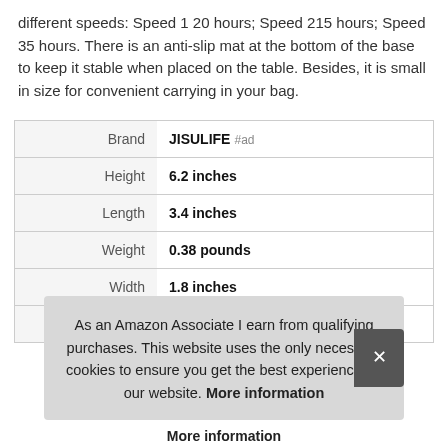different speeds: Speed 1 20 hours; Speed 215 hours; Speed 35 hours. There is an anti-slip mat at the bottom of the base to keep it stable when placed on the table. Besides, it is small in size for convenient carrying in your bag.
|  |  |
| --- | --- |
| Brand | JISULIFE #ad |
| Height | 6.2 inches |
| Length | 3.4 inches |
| Weight | 0.38 pounds |
| Width | 1.8 inches |
| Part Number | F2R |
As an Amazon Associate I earn from qualifying purchases. This website uses the only necessary cookies to ensure you get the best experience on our website. More information
More information